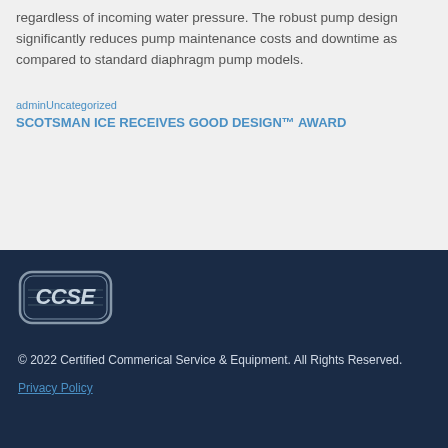regardless of incoming water pressure. The robust pump design significantly reduces pump maintenance costs and downtime as compared to standard diaphragm pump models.
adminUncategorized
SCOTSMAN ICE RECEIVES GOOD DESIGN™ AWARD
[Figure (logo): CCSE logo — rounded rectangle badge with 'CCSE' text in bold italic silver/white letters on dark navy background]
© 2022 Certified Commerical Service & Equipment. All Rights Reserved.
Privacy Policy